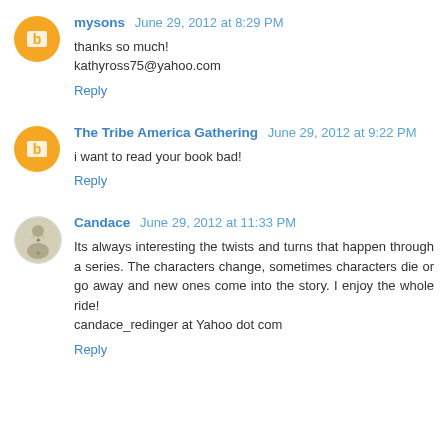mysons June 29, 2012 at 8:29 PM
thanks so much!
kathyross75@yahoo.com
Reply
The Tribe America Gathering June 29, 2012 at 9:22 PM
i want to read your book bad!
Reply
Candace June 29, 2012 at 11:33 PM
Its always interesting the twists and turns that happen through a series. The characters change, sometimes characters die or go away and new ones come into the story. I enjoy the whole ride!
candace_redinger at Yahoo dot com
Reply